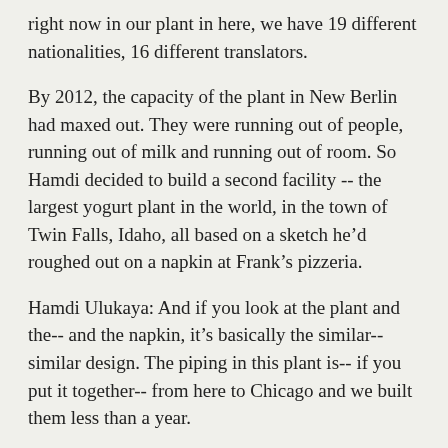right now in our plant in here, we have 19 different nationalities, 16 different translators.
By 2012, the capacity of the plant in New Berlin had maxed out. They were running out of people, running out of milk and running out of room. So Hamdi decided to build a second facility -- the largest yogurt plant in the world, in the town of Twin Falls, Idaho, all based on a sketch he'd roughed out on a napkin at Frank's pizzeria.
Hamdi Ulukaya: And if you look at the plant and the-- and the napkin, it's basically the similar-- similar design. The piping in this plant is-- if you put it together-- from here to Chicago and we built them less than a year.
There were some initial growing pains: a shipment had to be recalled because of mold contamination and early